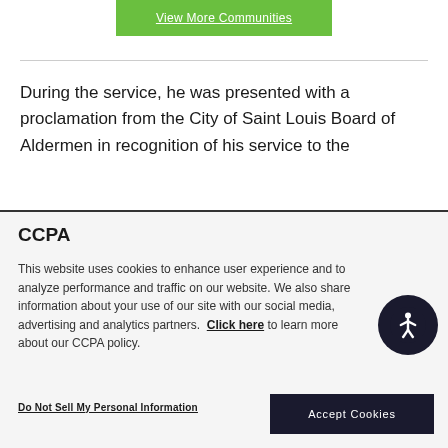View More Communities
During the service, he was presented with a proclamation from the City of Saint Louis Board of Aldermen in recognition of his service to the
CCPA
This website uses cookies to enhance user experience and to analyze performance and traffic on our website. We also share information about your use of our site with our social media, advertising and analytics partners. Click here to learn more about our CCPA policy.
Do Not Sell My Personal Information
Accept Cookies